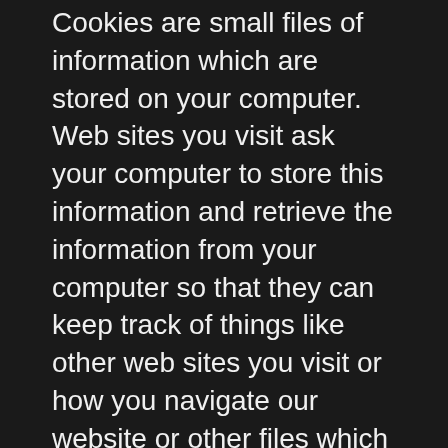Cookies are small files of information which are stored on your computer. Web sites you visit ask your computer to store this information and retrieve the information from your computer so that they can keep track of things like other web sites you visit or how you navigate our website or other files which provide you with the Site. For more information about what cookies are and how they work, visit www.allaboutcookies.org. On revisiting our website or in using the files, our computer server will recognise the cookie and give us information about your use of the Site. Most browsers accept cookies automatically, but usually you can alter the settings of your browser to prevent automatic acceptance. If you choose not to receive cookies, you may still use the Site but you may find that the Site may not function properly or is slower than when you allow a cookie to be installed on your machine.
How we look after your information
We make sure that all the information we hold on you is as safe as possible. In addition, we have strict security